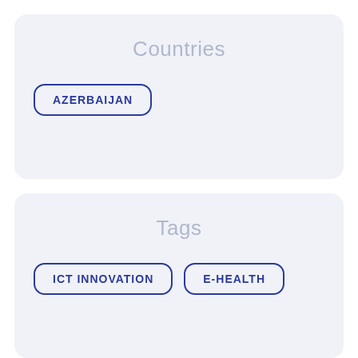Countries
AZERBAIJAN
Tags
ICT INNOVATION
E-HEALTH